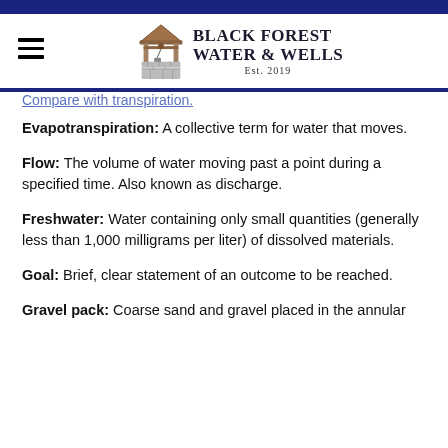Black Forest Water & Wells — Est. 2019
Compare with transpiration.
Evapotranspiration: A collective term for water that moves.
Flow: The volume of water moving past a point during a specified time. Also known as discharge.
Freshwater: Water containing only small quantities (generally less than 1,000 milligrams per liter) of dissolved materials.
Goal: Brief, clear statement of an outcome to be reached.
Gravel pack: Coarse sand and gravel placed in the annular space between the borehole and the well casing in the...